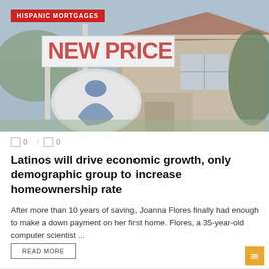[Figure (photo): Photograph of a real estate 'NEW PRICE' sign in front of a suburban house with terracotta roof tiles and beige stucco exterior, overlaid with a red banner reading 'HISPANIC MORTGAGES']
0 / 0
Latinos will drive economic growth, only demographic group to increase homeownership rate
After more than 10 years of saving, Joanna Flores finally had enough to make a down payment on her first home. Flores, a 35-year-old computer scientist ...
READ MORE